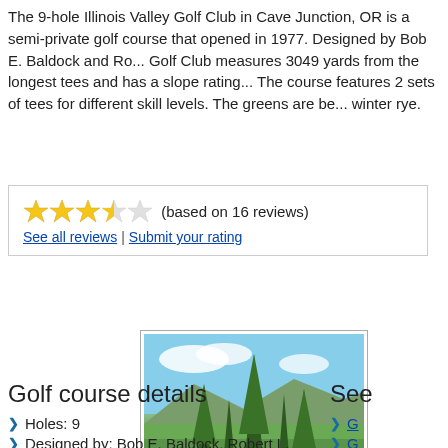The 9-hole Illinois Valley Golf Club in Cave Junction, OR is a semi-private golf course that opened in 1977. Designed by Bob E. Baldock and Ro... Golf Club measures 3049 yards from the longest tees and has a slope rating... The course features 2 sets of tees for different skill levels. The greens are be... winter rye.
★★★☆☆ (based on 16 reviews)
See all reviews | Submit your rating
[Figure (photo): Outdoor photo of Illinois Valley Golf Club showing green fairway with tall evergreen trees and mountains/hills in the background under a blue sky.]
Golf course details
Se...
Holes: 9
Designed by: Bob E. Baldock, Robert L. Baldock
Public/Private: Semi-Private
Year opened: 1977
Golf Season: Year round
Guest Policy: Open